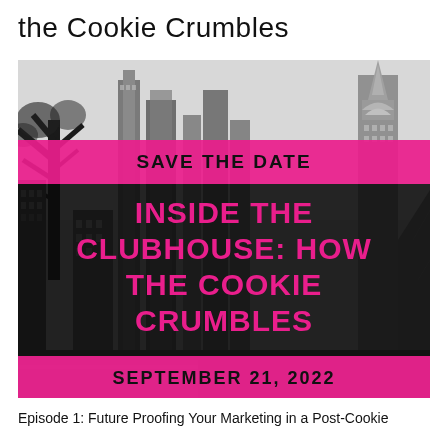the Cookie Crumbles
[Figure (infographic): Black and white city skyline (New York City) with overlaid pink and black banners reading SAVE THE DATE, INSIDE THE CLUBHOUSE: HOW THE COOKIE CRUMBLES, SEPTEMBER 21, 2022]
Episode 1: Future Proofing Your Marketing in a Post-Cookie